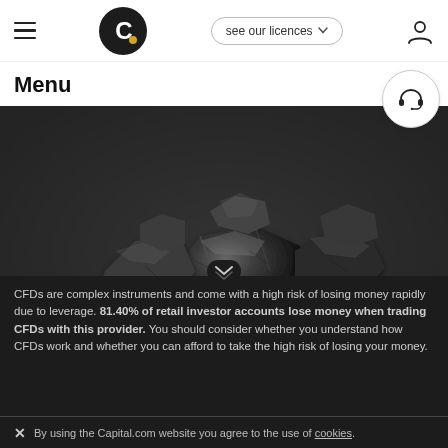Capital.com — Menu navigation bar with logo, see our licences button, and user icon
Menu
[Figure (photo): Close-up photograph of two dirt-stained hands cupping several chunks of black coal against a dark background.]
The EU's ban on Russian coal could increase US exports by 50% – Photo: Shutterstock
CFDs are complex instruments and come with a high risk of losing money rapidly due to leverage. 81.40% of retail investor accounts lose money when trading CFDs with this provider. You should consider whether you understand how CFDs work and whether you can afford to take the high risk of losing your money.
By using the Capital.com website you agree to the use of cookies.